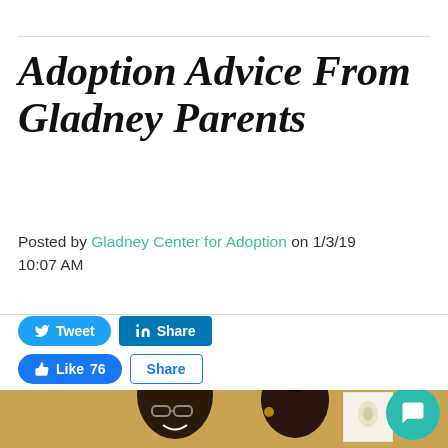Adoption Advice From Gladney Parents
Posted by Gladney Center for Adoption on 1/3/19 10:07 AM
[Figure (screenshot): Social media sharing buttons: Tweet (Twitter), Share (LinkedIn), Like 76 (Facebook), Share (Facebook)]
[Figure (photo): A smiling couple (man with glasses and a woman) photographed in front of a yellow/orange wall with artwork in the background. A teal chat bubble icon appears in the bottom right corner.]